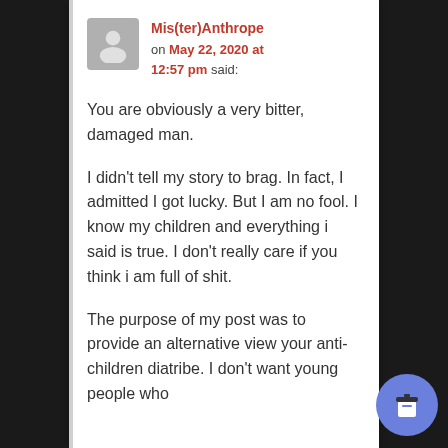Mis(ter)Anthrope on May 22, 2020 at 12:57 pm said:
You are obviously a very bitter, damaged man.
I didn't tell my story to brag. In fact, I admitted I got lucky. But I am no fool. I know my children and everything i said is true. I don't really care if you think i am full of shit.
The purpose of my post was to provide an alternative view your anti-children diatribe. I don't want young people who